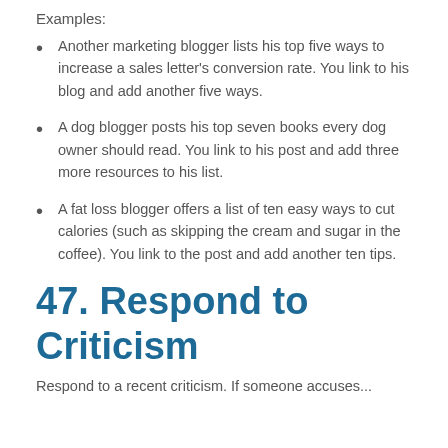Examples:
Another marketing blogger lists his top five ways to increase a sales letter's conversion rate. You link to his blog and add another five ways.
A dog blogger posts his top seven books every dog owner should read. You link to his post and add three more resources to his list.
A fat loss blogger offers a list of ten easy ways to cut calories (such as skipping the cream and sugar in the coffee). You link to the post and add another ten tips.
47. Respond to Criticism
Respond to a recent criticism. If someone accuses...